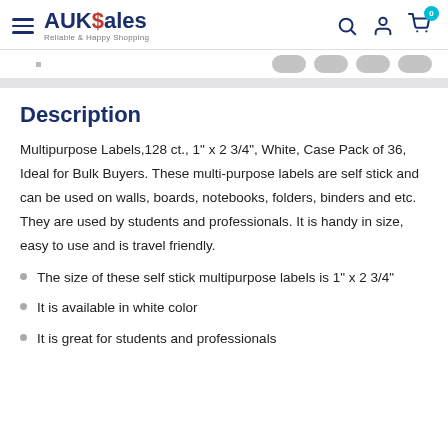AUKSales - Reliable & Happy Shopping
Description
Multipurpose Labels,128 ct., 1" x 2 3/4", White, Case Pack of 36, Ideal for Bulk Buyers. These multi-purpose labels are self stick and can be used on walls, boards, notebooks, folders, binders and etc. They are used by students and professionals. It is handy in size, easy to use and is travel friendly.
The size of these self stick multipurpose labels is 1" x 2 3/4"
It is available in white color
It is great for students and professionals